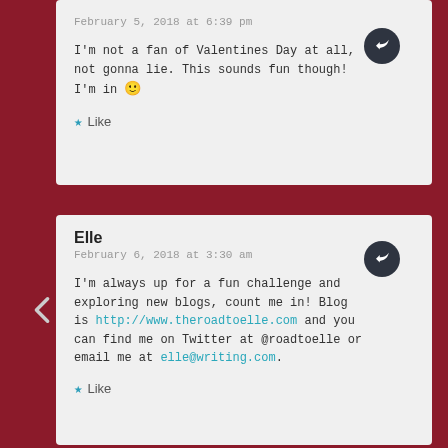February 5, 2018 at 6:39 pm
I'm not a fan of Valentines Day at all, not gonna lie. This sounds fun though! I'm in 🙂
Like
Elle
February 6, 2018 at 3:30 am
I'm always up for a fun challenge and exploring new blogs, count me in! Blog is http://www.theroadtoelle.com and you can find me on Twitter at @roadtoelle or email me at elle@writing.com.
Like